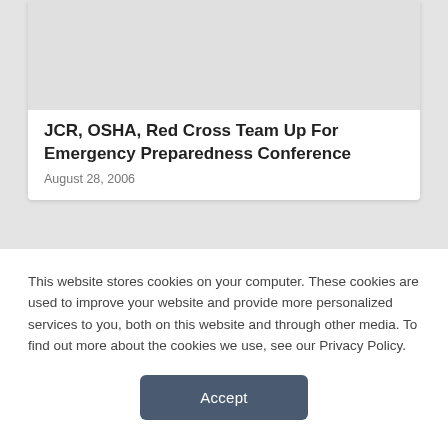[Figure (other): Gray placeholder image at top of article card]
JCR, OSHA, Red Cross Team Up For Emergency Preparedness Conference
August 28, 2006
This website stores cookies on your computer. These cookies are used to improve your website and provide more personalized services to you, both on this website and through other media. To find out more about the cookies we use, see our Privacy Policy.